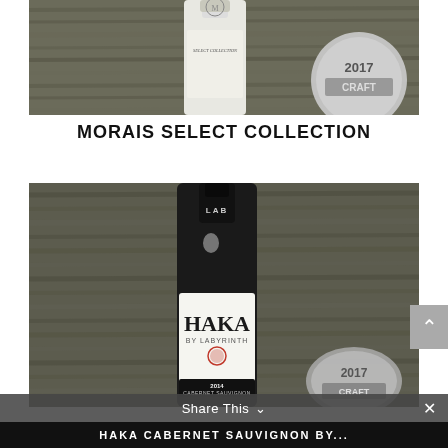[Figure (photo): Wine bottle labeled 'Morais Select Collection' against a wooden background, with a 2017 award medal visible on the right.]
MORAIS SELECT COLLECTION
[Figure (photo): Dark wine bottle labeled 'HAKA by Labyrinth, 2014 Cabernet Sauvignon, Paso Robles' against a wooden background, with a 2017 award medal partially visible at the bottom right.]
Share This
HAKA CABERNET SAUVIGNON BY...